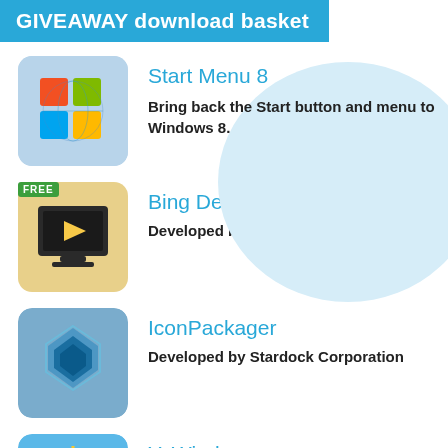GIVEAWAY download basket
[Figure (illustration): Start Menu 8 app icon - Windows logo on blue rounded square background]
Start Menu 8
Bring back the Start button and menu to Windows 8.
[Figure (illustration): Bing Desktop app icon - Bing logo on yellow/golden background with FREE badge]
Bing Desktop
Developed by Microsoft
[Figure (illustration): IconPackager app icon - blue layered hexagon shapes on blue-grey background]
IconPackager
Developed by Stardock Corporation
[Figure (illustration): YoWindow app icon - weather app with sun and clouds on blue/green background]
YoWindow
Developed by Repkasoft
Comments on FolderIco 1.0